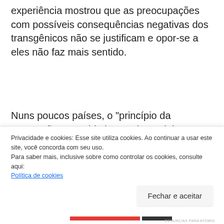experiência mostrou que as preocupações com possíveis consequências negativas dos transgênicos não se justificam e opor-se a eles não faz mais sentido.
Nuns poucos países, o "princípio da precaução" tem sido invocado também para dificultar a instalação de usinas hidrelétricas, tendo em vista que sua construção afeta populações ribeirinhas e tem impactos ambientais. Esse é um problema de fato sério em países com elevada
Privacidade e cookies: Esse site utiliza cookies. Ao continuar a usar este site, você concorda com seu uso.
Para saber mais, inclusive sobre como controlar os cookies, consulte aqui:
Política de cookies
Fechar e aceitar